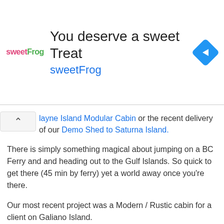[Figure (screenshot): SweetFrog advertisement banner with logo, text 'You deserve a sweet Treat' and 'sweetFrog', and a blue navigation arrow icon]
layne Island Modular Cabin or the recent delivery of our Demo Shed to Saturna Island.
There is simply something magical about jumping on a BC Ferry and and heading out to the Gulf Islands. So quick to get there (45 min by ferry) yet a world away once you're there.
Our most recent project was a Modern / Rustic cabin for a client on Galiano Island.
[Figure (photo): Photo of a modern/rustic cabin with a flat or low-pitched roof surrounded by trees and green vegetation]